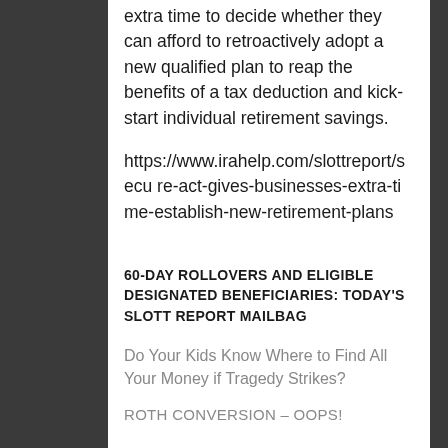extra time to decide whether they can afford to retroactively adopt a new qualified plan to reap the benefits of a tax deduction and kick-start individual retirement savings.
https://www.irahelp.com/slottreport/secure-act-gives-businesses-extra-time-establish-new-retirement-plans
60-DAY ROLLOVERS AND ELIGIBLE DESIGNATED BENEFICIARIES: TODAY'S SLOTT REPORT MAILBAG
Do Your Kids Know Where to Find All Your Money if Tragedy Strikes?
ROTH CONVERSION – OOPS!